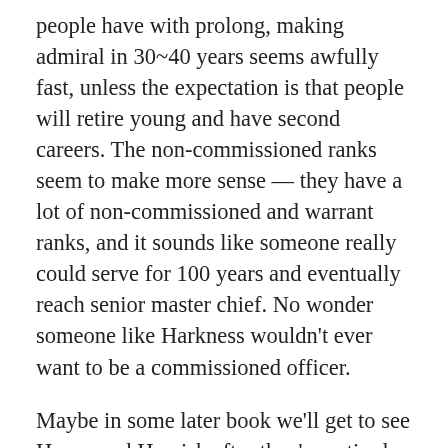people have with prolong, making admiral in 30~40 years seems awfully fast, unless the expectation is that people will retire young and have second careers. The non-commissioned ranks seem to make more sense — they have a lot of non-commissioned and warrant ranks, and it sounds like someone really could serve for 100 years and eventually reach senior master chief. No wonder someone like Harkness wouldn't ever want to be a commissioned officer.
Maybe in some later book we'll get to see Honor and Hamish after they've retired from the navy (well, I guess Hamish has sort of retired). Now that they have a child, maybe she'll follow in their footsteps and Honor will be a Lord of the Admiralty or something like that.